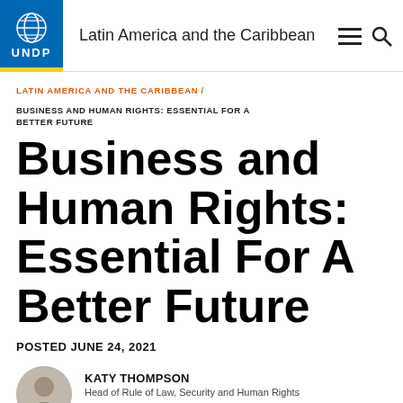Latin America and the Caribbean
LATIN AMERICA AND THE CARIBBEAN /
BUSINESS AND HUMAN RIGHTS: ESSENTIAL FOR A BETTER FUTURE
Business and Human Rights: Essential For A Better Future
POSTED JUNE 24, 2021
KATY THOMPSON
Head of Rule of Law, Security and Human Rights